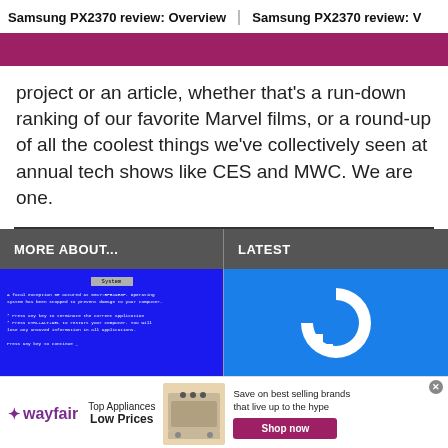Samsung PX2370 review: Overview | Samsung PX2370 review: V
project or an article, whether that's a run-down ranking of our favorite Marvel films, or a round-up of all the coolest things we've collectively seen at annual tech shows like CES and MWC. We are one.
MORE ABOUT...
LATEST
[Figure (screenshot): Blue screen of death (BSOD) screenshot on blue background]
[Figure (logo): DigitalOcean logo - white circular arrow with blue squares on blue background]
[Figure (infographic): Wayfair advertisement: Top Appliances Low Prices, Save on best selling brands that live up to the hype, Shop now button]